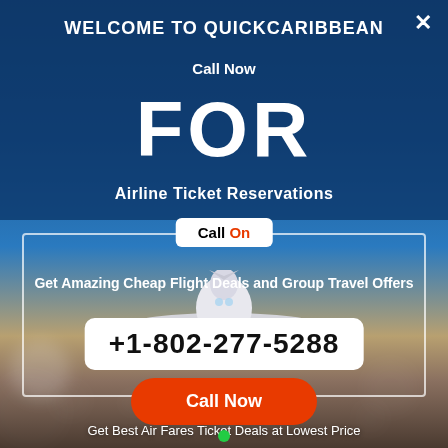[Figure (infographic): Travel advertisement popup with airplane image and bokeh city lights background]
WELCOME TO QUICKCARIBBEAN
Call Now
FOR
Airline Ticket Reservations
Call On
Get Amazing Cheap Flight Deals and Group Travel Offers
+1-802-277-5288
Call Now
Get Best Air Fares Ticket Deals at Lowest Price